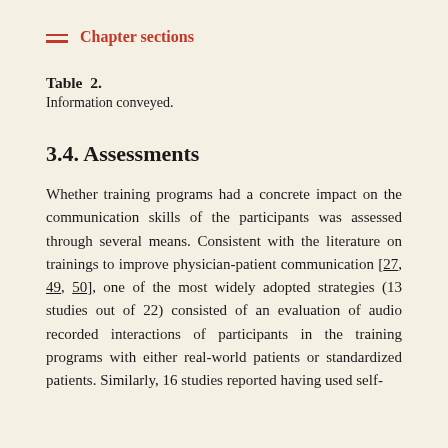Chapter sections
Table 2.
Information conveyed.
3.4. Assessments
Whether training programs had a concrete impact on the communication skills of the participants was assessed through several means. Consistent with the literature on trainings to improve physician-patient communication [27, 49, 50], one of the most widely adopted strategies (13 studies out of 22) consisted of an evaluation of audio recorded interactions of participants in the training programs with either real-world patients or standardized patients. Similarly, 16 studies reported having used self-